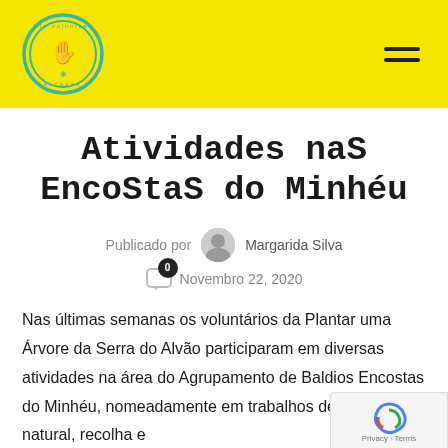[Figure (logo): Life Volunteer Escapes circular logo with hand and leaf icon, teal border on yellow background]
Atividades nas Encostas do Minhéu
Publicado por Margarida Silva
0 Novembro 22, 2020
Nas últimas semanas os voluntários da Plantar uma Árvore da Serra do Alvão participaram em diversas atividades na área do Agrupamento de Baldios Encostas do Minhéu, nomeadamente em trabalhos de engenharia natural, recolha e